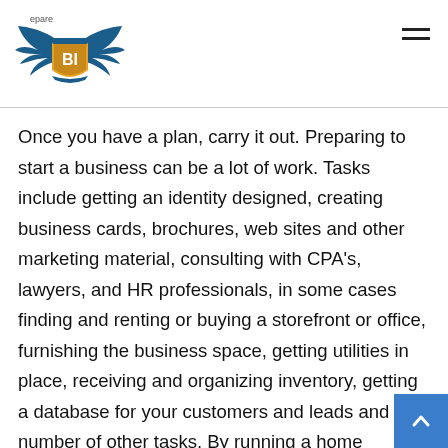Prepare BI [logo with eagle and shield]
Once you have a plan, carry it out. Preparing to start a business can be a lot of work. Tasks include getting an identity designed, creating business cards, brochures, web sites and other marketing material, consulting with CPA's, lawyers, and HR professionals, in some cases finding and renting or buying a storefront or office, furnishing the business space, getting utilities in place, receiving and organizing inventory, getting a database for your customers and leads and any number of other tasks. By running a home business, some of these steps will already be taken care of, yet opening a business of any kind can be an enormous task. While planning your business make sure to leave plenty of time to get up and running. Better to plan your setup time too long than too short